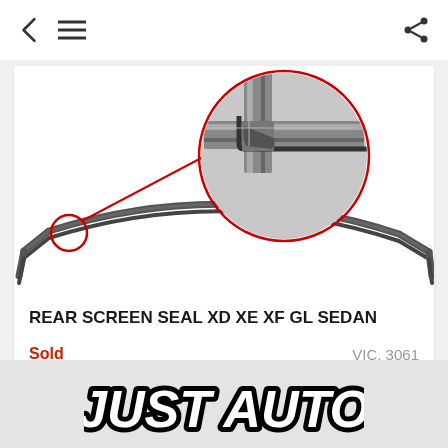< ≡  (navigation bar with back, menu, share icons)
[Figure (photo): Product photo of a rubber rear screen seal/weatherstrip for XD XE XF GL Sedan, showing a curved grey rubber strip with a red circle callout zooming into the corner joint detail]
REAR SCREEN SEAL XD XE XF GL SEDAN
Sold
VIC, 3061
[Figure (logo): JUST AUTO logo in bold italic white letters with thick black outline/stroke]